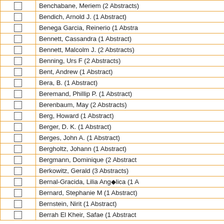|  | Name |
| --- | --- |
| ☐ | Benchabane, Meriem (2 Abstracts) |
| ☐ | Bendich, Arnold J. (1 Abstract) |
| ☐ | Benega Garcia, Reinerio (1 Abstract) |
| ☐ | Bennett, Cassandra (1 Abstract) |
| ☐ | Bennett, Malcolm J. (2 Abstracts) |
| ☐ | Benning, Urs F (2 Abstracts) |
| ☐ | Bent, Andrew (1 Abstract) |
| ☐ | Bera, B. (1 Abstract) |
| ☐ | Beremand, Phillip P. (1 Abstract) |
| ☐ | Berenbaum, May (2 Abstracts) |
| ☐ | Berg, Howard (1 Abstract) |
| ☐ | Berger, D. K. (1 Abstract) |
| ☐ | Berges, John A. (1 Abstract) |
| ☐ | Bergholtz, Johann (1 Abstract) |
| ☐ | Bergmann, Dominique (2 Abstracts) |
| ☐ | Berkowitz, Gerald (3 Abstracts) |
| ☐ | Bernal-Gracida, Lilia Angélica (1 Abstract) |
| ☐ | Bernard, Stephanie M (1 Abstract) |
| ☐ | Bernstein, Nirit (1 Abstract) |
| ☐ | Berrah El Kheir, Safae (1 Abstract) |